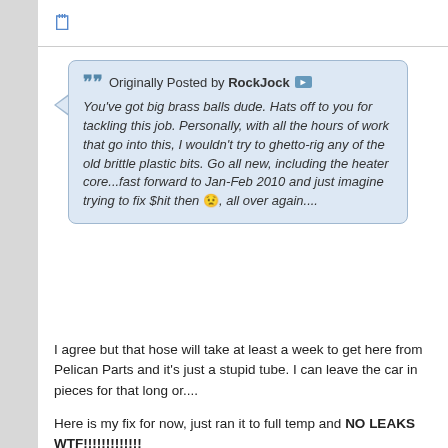[Figure (screenshot): Forum post quote box with RockJock's message about replacing car parts, followed by a reply about a hose and a photo of car parts]
Originally Posted by RockJock ▶ You've got big brass balls dude. Hats off to you for tackling this job. Personally, with all the hours of work that go into this, I wouldn't try to ghetto-rig any of the old brittle plastic bits. Go all new, including the heater core...fast forward to Jan-Feb 2010 and just imagine trying to fix $hit then 😟, all over again....
I agree but that hose will take at least a week to get here from Pelican Parts and it's just a stupid tube. I can leave the car in pieces for that long or....
Here is my fix for now, just ran it to full temp and NO LEAKS WTF!!!!!!!!!!!!
[Figure (photo): Photo of a Gates hose/radiator hose on a wooden surface with car parts around it]